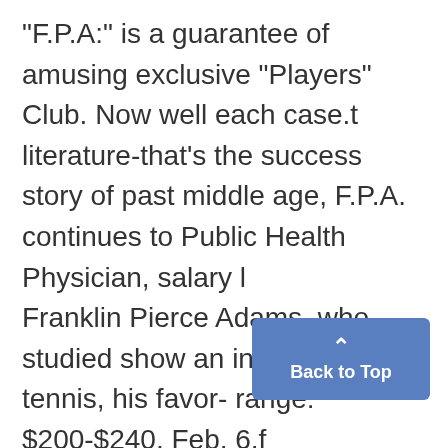"F.P.A:" is a guarantee of amusing exclusive "Players" Club. Now well each case.t literature-that's the success story of past middle age, F.P.A. continues to Public Health Physician, salary l Franklin Pierce Adams, who studied show an interest in tennis, his favor- range: $200-$240, Feb. 6.f here- in 1899-1900 ite sport. For "The New Yorker," he Residence in Michigan not required. covers that sport. Garageman, salary range: $80-$100,, Companion of O. Henry, with whom I